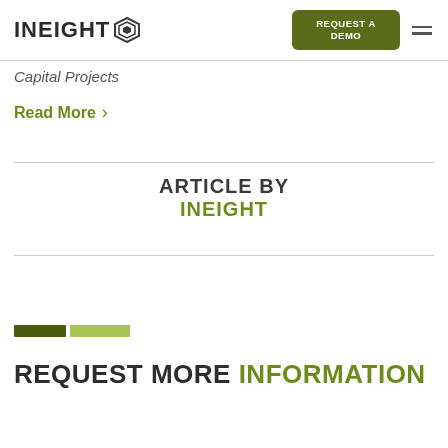INEIGHT — REQUEST A DEMO
Capital Projects
Read More >
ARTICLE BY INEIGHT
[Figure (illustration): Two decorative colored bars: dark olive and light green]
REQUEST MORE INFORMATION